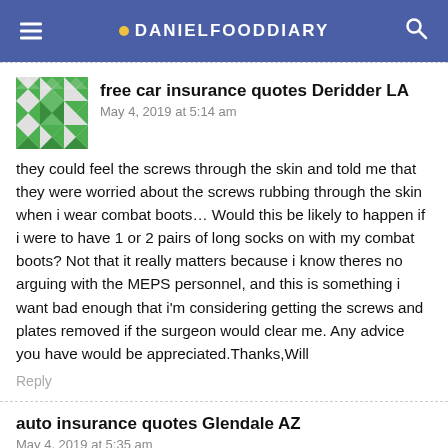DANIELFOODDIARY
free car insurance quotes Deridder LA
May 4, 2019 at 5:14 am
they could feel the screws through the skin and told me that they were worried about the screws rubbing through the skin when i wear combat boots… Would this be likely to happen if i were to have 1 or 2 pairs of long socks on with my combat boots? Not that it really matters because i know theres no arguing with the MEPS personnel, and this is something i want bad enough that i'm considering getting the screws and plates removed if the surgeon would clear me. Any advice you have would be appreciated.Thanks,Will
Reply
auto insurance quotes Glendale AZ
May 4, 2019 at 5:35 am
There's a hierarchy of victimhood in the United States